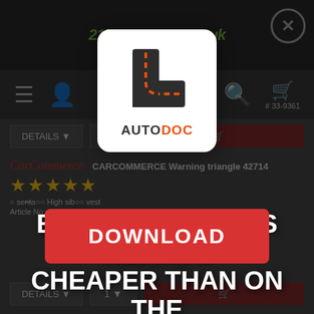[Figure (screenshot): Website screenshot of buycarparts.co.uk showing a product page for CARCOMMERCE Warning triangle 42714, with navigation icons, product details, brand logo, star rating, and article number. A dark overlay covers the background.]
[Figure (logo): Autodoc app logo: white rounded square card with black and orange L-shaped road arrow symbol and AUTODOC wordmark (DOC in orange)]
BUYING VIA APP IS ALWAYS CHEAPER THAN ON THE WEBSITE
[Figure (other): Red DOWNLOAD button with white bold uppercase text]